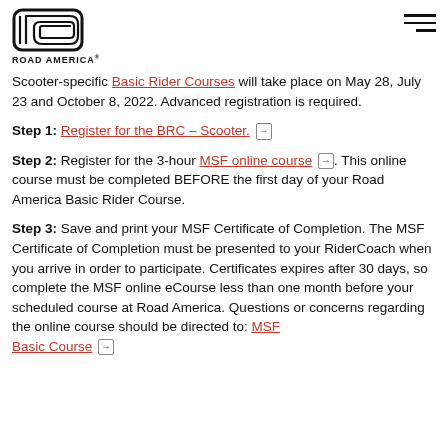[Figure (logo): Road America logo — stylized road track shape above text 'ROAD AMERICA' with registered trademark symbol]
Scooter-specific Basic Rider Courses will take place on May 28, July 23 and October 8, 2022. Advanced registration is required.
Step 1: Register for the BRC – Scooter.
Step 2: Register for the 3-hour MSF online course. This online course must be completed BEFORE the first day of your Road America Basic Rider Course.
Step 3: Save and print your MSF Certificate of Completion. The MSF Certificate of Completion must be presented to your RiderCoach when you arrive in order to participate. Certificates expires after 30 days, so complete the MSF online eCourse less than one month before your scheduled course at Road America. Questions or concerns regarding the online course should be directed to: MSF Basic Course...